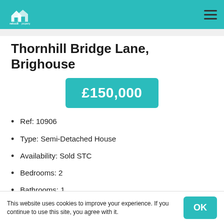reloc8 [logo]
Thornhill Bridge Lane, Brighouse
£150,000
Ref: 10906
Type: Semi-Detached House
Availability: Sold STC
Bedrooms: 2
Bathrooms: 1
This website uses cookies to improve your experience. If you continue to use this site, you agree with it.